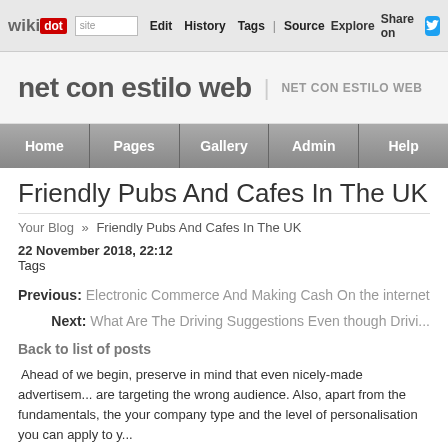wikidot | site | Edit | History | Tags | Source | Explore | Share on [Twitter]
net con estilo web | NET CON ESTILO WEB
Home | Pages | Gallery | Admin | Help
Friendly Pubs And Cafes In The UK
Your Blog » Friendly Pubs And Cafes In The UK
22 November 2018, 22:12
Tags
Previous: Electronic Commerce And Making Cash On the internet
Next: What Are The Driving Suggestions Even though Drivi...
Back to list of posts
Ahead of we begin, preserve in mind that even nicely-made advertisements are targeting the wrong audience. Also, apart from the fundamentals, the your company type and the level of personalisation you can apply to y...